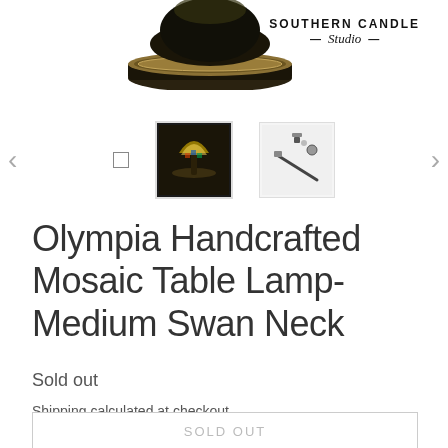[Figure (photo): Partial top view of a decorative lamp base with golden ornate rim on white background, with Southern Candle Studio logo in upper right]
[Figure (photo): Thumbnail gallery row with left/right navigation arrows, showing a small square placeholder icon, a thumbnail of a mosaic table lamp, and a thumbnail of product accessories]
Olympia Handcrafted Mosaic Table Lamp-Medium Swan Neck
Sold out
Shipping calculated at checkout.
[Figure (screenshot): Sold out button (partially visible at bottom)]